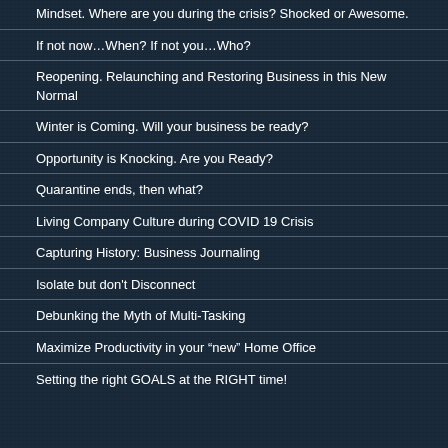Mindset. Where are you during the crisis? Shocked or Awesome.
If not now…When? If not you…Who?
Reopening. Relaunching and Restoring Business in this New Normal
Winter is Coming. Will your business be ready?
Opportunity is Knocking. Are you Ready?
Quarantine ends, then what?
Living Company Culture during COVID 19 Crisis
Capturing History: Business Journaling
Isolate but don't Disconnect
Debunking the Myth of Multi-Tasking
Maximize Productivity in your “new” Home Office
Setting the right GOALS at the RIGHT time!